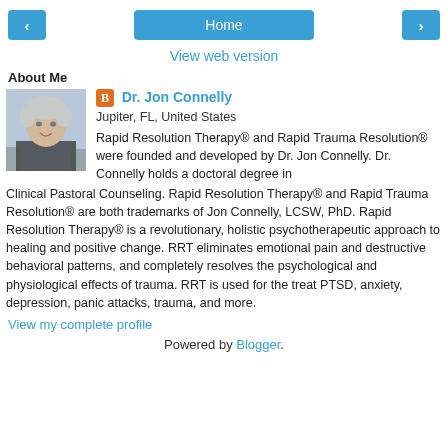< Home >
View web version
About Me
[Figure (photo): Profile photo of Dr. Jon Connelly, an older person with short white/gray hair, smiling, outdoors.]
Dr. Jon Connelly
Jupiter, FL, United States

Rapid Resolution Therapy® and Rapid Trauma Resolution® were founded and developed by Dr. Jon Connelly. Dr. Connelly holds a doctoral degree in Clinical Pastoral Counseling. Rapid Resolution Therapy® and Rapid Trauma Resolution® are both trademarks of Jon Connelly, LCSW, PhD. Rapid Resolution Therapy® is a revolutionary, holistic psychotherapeutic approach to healing and positive change. RRT eliminates emotional pain and destructive behavioral patterns, and completely resolves the psychological and physiological effects of trauma. RRT is used for the treat PTSD, anxiety, depression, panic attacks, trauma, and more.
View my complete profile
Powered by Blogger.